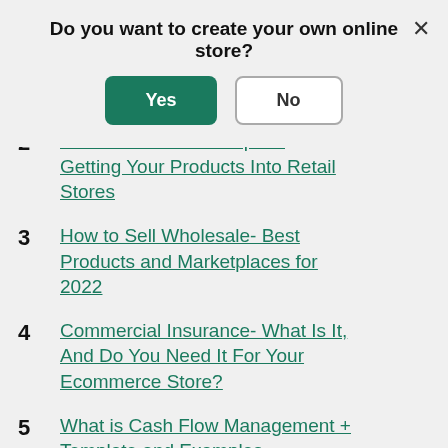Do you want to create your own online store?
[Figure (screenshot): Modal dialog with Yes (green filled button) and No (white outlined button) options, and an X close button in the top right corner]
2  Hit the Shelves- 6 Steps to Getting Your Products Into Retail Stores
3  How to Sell Wholesale- Best Products and Marketplaces for 2022
4  Commercial Insurance- What Is It, And Do You Need It For Your Ecommerce Store?
5  What is Cash Flow Management + Template and Examples
6  From Realtor to Retailer- How Strategic Financing Helped One…